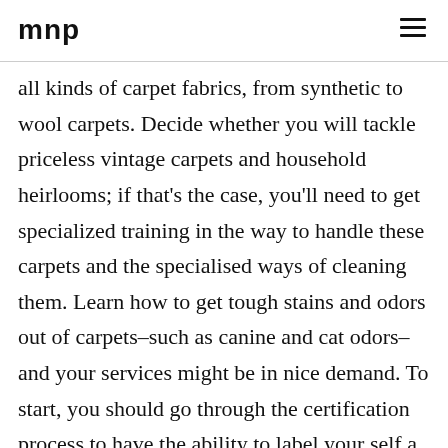MNP
all kinds of carpet fabrics, from synthetic to wool carpets. Decide whether you will tackle priceless vintage carpets and household heirlooms; if that’s the case, you’ll need to get specialized training in the way to handle these carpets and the specialised ways of cleaning them. Learn how to get tough stains and odors out of carpets–such as canine and cat odors–and your services might be in nice demand. To start, you should go through the certification process to have the ability to label your self a CFP .
All of these items will assist you to tailor an